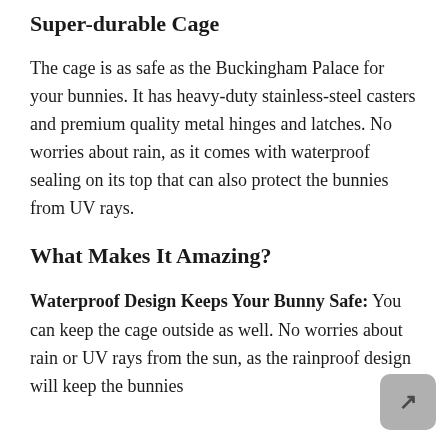Super-durable Cage
The cage is as safe as the Buckingham Palace for your bunnies. It has heavy-duty stainless-steel casters and premium quality metal hinges and latches. No worries about rain, as it comes with waterproof sealing on its top that can also protect the bunnies from UV rays.
What Makes It Amazing?
Waterproof Design Keeps Your Bunny Safe: You can keep the cage outside as well. No worries about rain or UV rays from the sun, as the rainproof design will keep the bunnies